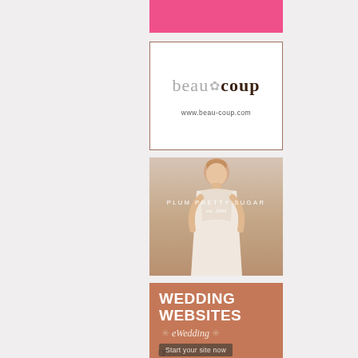[Figure (illustration): Pink/hot-pink rectangular banner advertisement]
[Figure (logo): Beau-coup logo advertisement with text 'beau coup' and URL www.beau-coup.com, white background with brown border]
[Figure (photo): Plum Pretty Sugar advertisement featuring a bride in white dress with text 'PLUM PRETTY SUGAR est. 2009']
[Figure (illustration): eWedding advertisement with terracotta/brown background, text 'WEDDING WEBSITES', 'eWedding', and 'Start your site now' button with cursor icon]